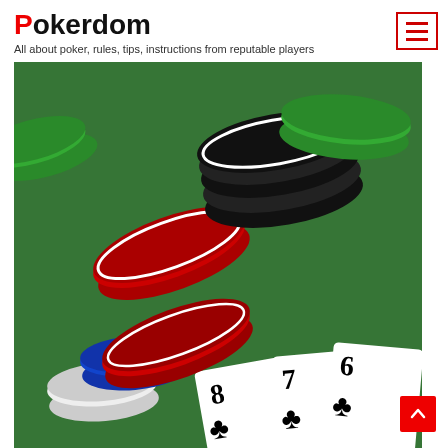Pokerdom
All about poker, rules, tips, instructions from reputable players
[Figure (photo): Poker chips in green, red, black, white, and blue colors scattered on a green felt table, with three playing cards showing 7, 6, and 8 of clubs visible in the lower portion]
[Figure (other): Red scroll-to-top button with upward arrow chevron in bottom right corner]